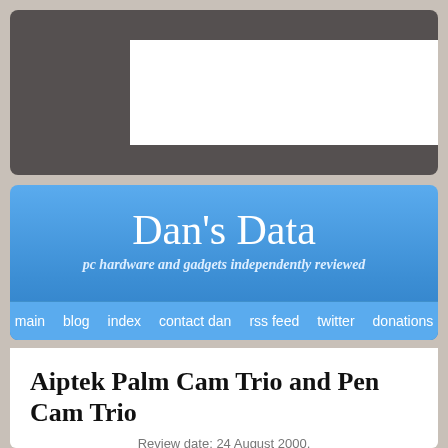[Figure (screenshot): Gray banner with white inner rectangle, representing a website header area with a logo/image placeholder]
Dan's Data
pc hardware and gadgets independently reviewed
main  blog  index  contact dan  rss feed  twitter  donations
Aiptek Palm Cam Trio and Pen Cam Trio
Review date: 24 August 2000.
Last modified 03-Dec-2011.